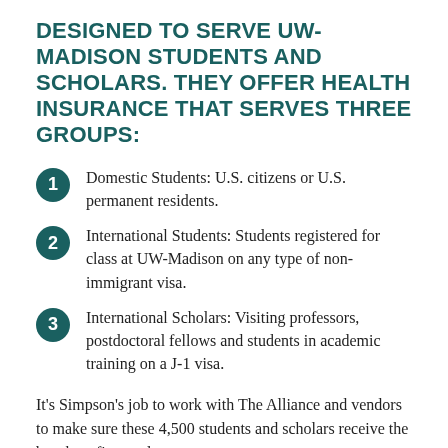DESIGNED TO SERVE UW-MADISON STUDENTS AND SCHOLARS. THEY OFFER HEALTH INSURANCE THAT SERVES THREE GROUPS:
Domestic Students: U.S. citizens or U.S. permanent residents.
International Students: Students registered for class at UW-Madison on any type of non-immigrant visa.
International Scholars: Visiting professors, postdoctoral fellows and students in academic training on a J-1 visa.
It’s Simpson’s job to work with The Alliance and vendors to make sure these 4,500 students and scholars receive the best benefits at a low cost.